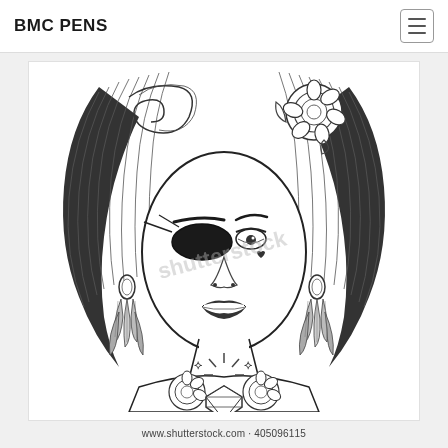BMC PENS
[Figure (illustration): Black and white line art illustration of a young woman with elaborate styled hair adorned with a rose, wearing a pirate eye patch, earrings with feathers and beads, and tattoos on her chest including roses and a diamond. Shutterstock watermark visible.]
www.shutterstock.com · 405096115